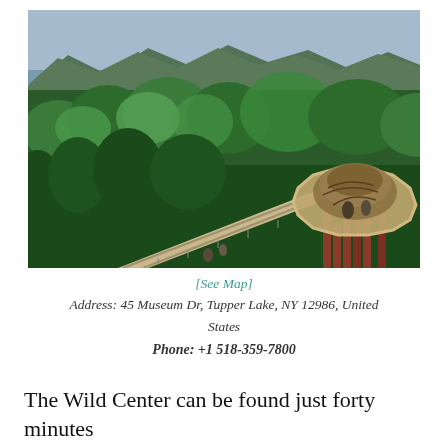[Figure (photo): Aerial photograph of a forested landscape with mountains in the background and a river visible through the trees. In the foreground, a circular elevated walkway/observation platform with a thatched or sculpted roof structure is connected by a long suspended walkway bridge, supported by orange/rust-colored metal pillars.]
[See Map]
Address: 45 Museum Dr, Tupper Lake, NY 12986, United States
Phone: +1 518-359-7800
The Wild Center can be found just forty minutes drive west of town